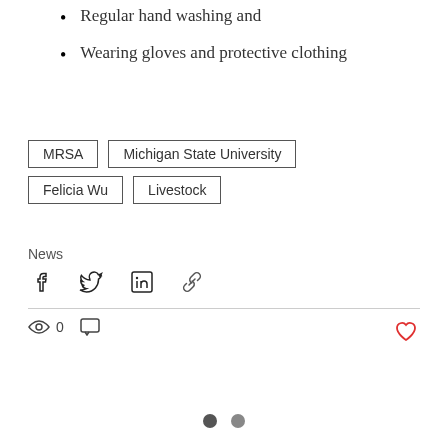Regular hand washing and
Wearing gloves and protective clothing
MRSA | Michigan State University | Felicia Wu | Livestock
News
[Figure (infographic): Social share icons: Facebook, Twitter, LinkedIn, Link]
0 views, 0 comments, heart/like button